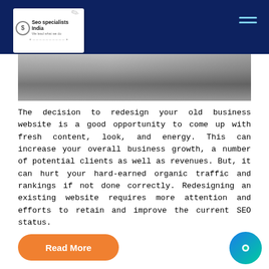[Figure (logo): SEO Specialists India logo in white box on navy header bar]
[Figure (photo): Partial photo of desk/laptop scene, cropped at top]
The decision to redesign your old business website is a good opportunity to come up with fresh content, look, and energy. This can increase your overall business growth, a number of potential clients as well as revenues. But, it can hurt your hard-earned organic traffic and rankings if not done correctly. Redesigning an existing website requires more attention and efforts to retain and improve the current SEO status.
Read More